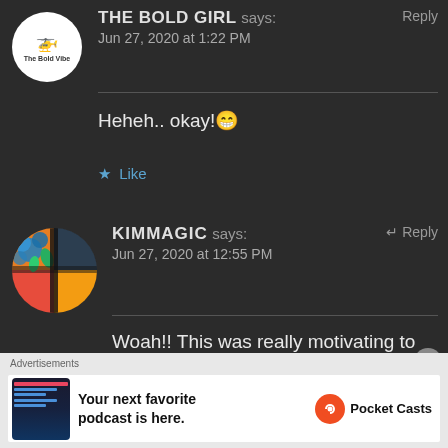THE BOLD GIRL says: Reply
Jun 27, 2020 at 1:22 PM
Heheh.. okay! 😁
★ Like
KIMMAGIC says: ↵ Reply
Jun 27, 2020 at 12:55 PM
Woah!! This was really motivating to read and it definetely sounded like the story of a bold warrior at life!! 🤩🤩 I
Advertisements
Your next favorite podcast is here.
Pocket Casts